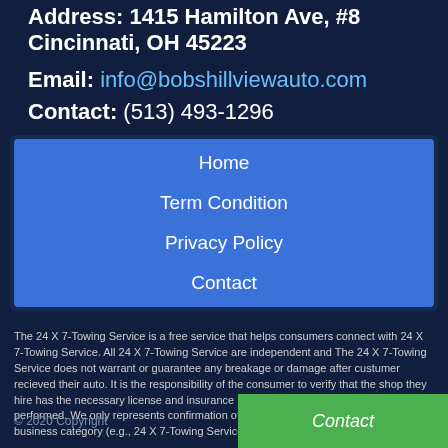Address: 1415 Hamilton Ave, #8 Cincinnati, OH 45223
Email: info@bobshillviewauto.com
Contact: (513) 493-1296
Home
Term Condition
Privacy Policy
Contact
The 24 X 7-Towing Service is a free service that helps consumers connect with 24 X 7-Towing Service. All 24 X 7-Towing Service are independent and The 24 X 7-Towing Service does not warrant or guarantee any breakage or damage after custumer recieved their auto. It is the responsibility of the consumer to verify that the shop they hire has the necessary license and insurance required for the car detailing being performed. We only represents confirmation of a business's service area and business category (e.g., 24 X 7-Towing Service)
© 2020 Copyright
Contact